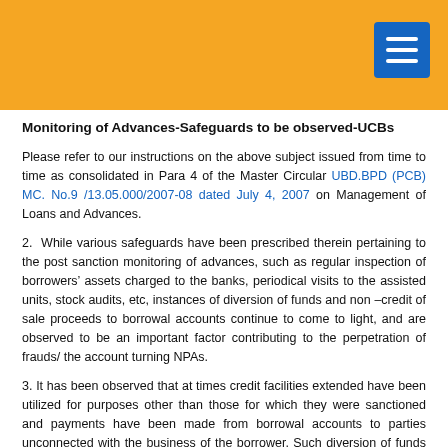Monitoring of Advances-Safeguards to be observed-UCBs
Please refer to our instructions on the above subject issued from time to time as consolidated in Para 4 of the Master Circular UBD.BPD (PCB) MC. No.9 /13.05.000/2007-08 dated July 4, 2007 on Management of Loans and Advances.
2.  While various safeguards have been prescribed therein pertaining to the post sanction monitoring of advances, such as regular inspection of borrowers’ assets charged to the banks, periodical visits to the assisted units, stock audits, etc, instances of diversion of funds and non –credit of sale proceeds to borrowal accounts continue to come to light, and are observed to be an important factor contributing to the perpetration of frauds/ the account turning NPAs.
3. It has been observed that at times credit facilities extended have been utilized for purposes other than those for which they were sanctioned and payments have been made from borrowal accounts to parties unconnected with the business of the borrower. Such diversion of funds also results in depletion of working capital leading to the account turning into NPA. Banks are advised to ensure that loan facilities are utilized by borrowers for the purpose sanctioned.